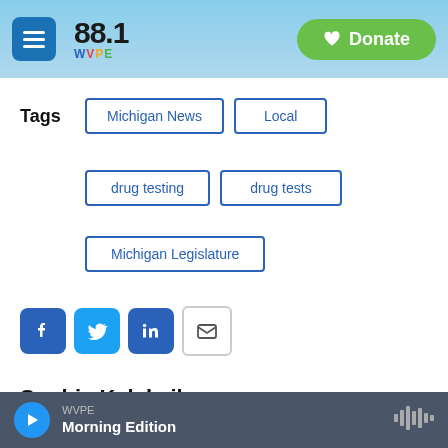88.1 WVPE | Donate
Michigan News
Local
drug testing
drug tests
Michigan Legislature
[Figure (infographic): Social share buttons: Facebook, Twitter, LinkedIn, Email]
Sophia Kalakailo
WVPE Morning Edition